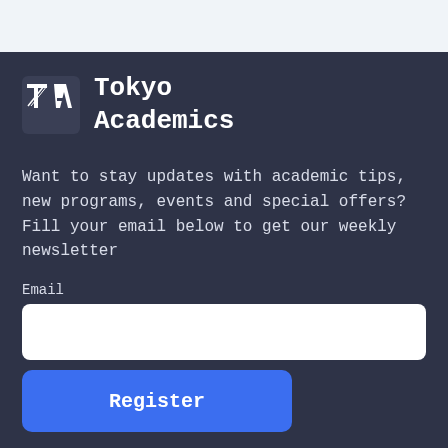[Figure (logo): Tokyo Academics logo with stylized TA letters in white on dark background]
Tokyo
Academics
Want to stay updates with academic tips, new programs, events and special offers? Fill your email below to get our weekly newsletter
Email
Register
Services